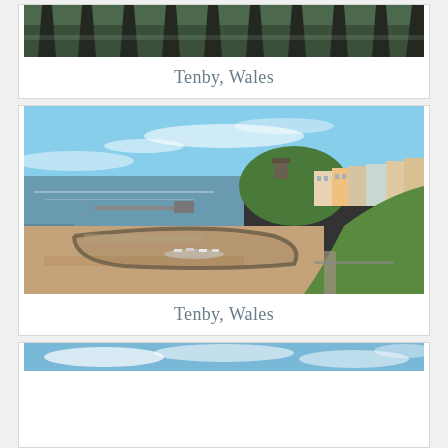[Figure (photo): Top portion of a photo showing dark pointed fence posts or bollards against a green and water background - Tenby, Wales]
Tenby, Wales
[Figure (photo): Aerial view of Tenby, Wales harbour and beach with sandy beach, harbour wall with boats, colourful buildings on the cliff, green hillside, and blue sky with clouds]
Tenby, Wales
[Figure (photo): Bottom portion of a photo showing blue sky and clouds - Tenby, Wales]